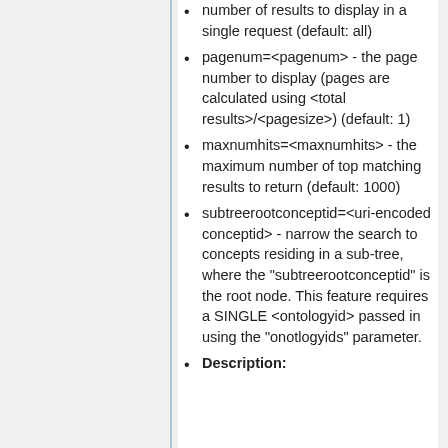number of results to display in a single request (default: all)
pagenum=<pagenum> - the page number to display (pages are calculated using <total results>/<pagesize>) (default: 1)
maxnumhits=<maxnumhits> - the maximum number of top matching results to return (default: 1000)
subtreerootconceptid=<uri-encoded conceptid> - narrow the search to concepts residing in a sub-tree, where the "subtreerootconceptid" is the root node. This feature requires a SINGLE <ontologyid> passed in using the "onotlogyids" parameter.
Description: